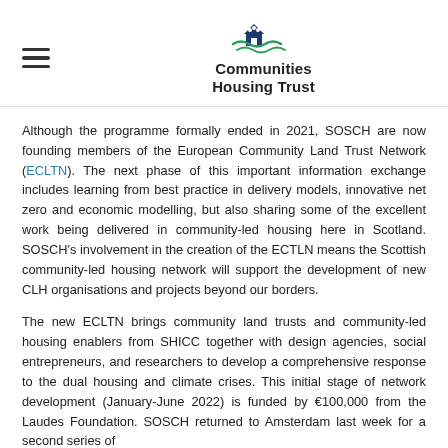Communities Housing Trust
Although the programme formally ended in 2021, SOSCH are now founding members of the European Community Land Trust Network (ECLTN). The next phase of this important information exchange includes learning from best practice in delivery models, innovative net zero and economic modelling, but also sharing some of the excellent work being delivered in community-led housing here in Scotland. SOSCH's involvement in the creation of the ECTLN means the Scottish community-led housing network will support the development of new CLH organisations and projects beyond our borders.
The new ECLTN brings community land trusts and community-led housing enablers from SHICC together with design agencies, social entrepreneurs, and researchers to develop a comprehensive response to the dual housing and climate crises. This initial stage of network development (January-June 2022) is funded by €100,000 from the Laudes Foundation. SOSCH returned to Amsterdam last week for a second series of